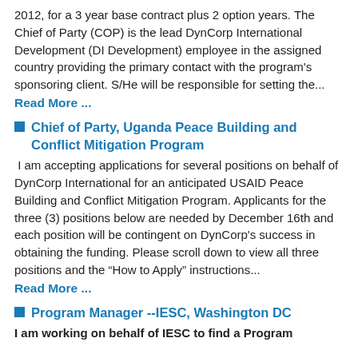2012, for a 3 year base contract plus 2 option years. The Chief of Party (COP) is the lead DynCorp International Development (DI Development) employee in the assigned country providing the primary contact with the program's sponsoring client. S/He will be responsible for setting the...
Read More ...
Chief of Party, Uganda Peace Building and Conflict Mitigation Program
I am accepting applications for several positions on behalf of DynCorp International for an anticipated USAID Peace Building and Conflict Mitigation Program. Applicants for the three (3) positions below are needed by December 16th and each position will be contingent on DynCorp's success in obtaining the funding. Please scroll down to view all three positions and the “How to Apply” instructions...
Read More ...
Program Manager --IESC, Washington DC
I am working on behalf of IESC to find a Program